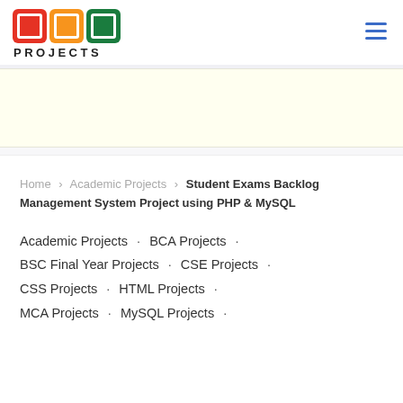[Figure (logo): 1000 Projects logo with colored square icons (red, orange, green) and text PROJECTS]
Home > Academic Projects > Student Exams Backlog Management System Project using PHP & MySQL
Academic Projects · BCA Projects · BSC Final Year Projects · CSE Projects · CSS Projects · HTML Projects · MCA Projects · MySQL Projects ·